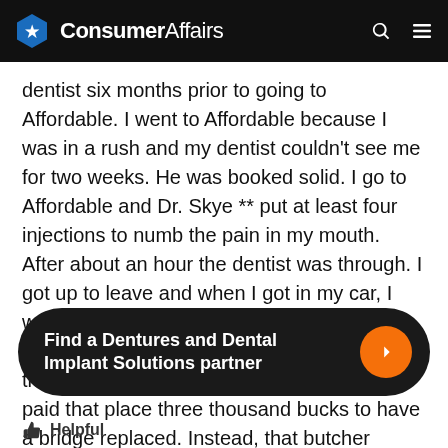ConsumerAffairs
dentist six months prior to going to Affordable. I went to Affordable because I was in a rush and my dentist couldn't see me for two weeks. He was booked solid. I go to Affordable and Dr. Skye ** put at least four injections to numb the pain in my mouth. After about an hour the dentist was through. I got up to leave and when I got in my car, I was horrified. That "dentist" pulled every tooth out of the top of my mouth. The teeth that she extracted were perfectly healthy. I paid that place three thousand bucks to have a bridge replaced. Instead, that butcher pulled healthy teeth out of my mouth so I would have to
Find a Dentures and Dental Implant Solutions partner
Helpful